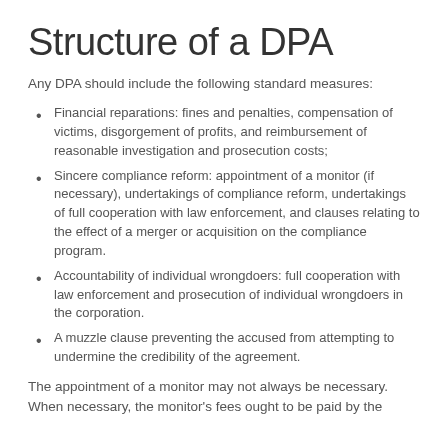Structure of a DPA
Any DPA should include the following standard measures:
Financial reparations: fines and penalties, compensation of victims, disgorgement of profits, and reimbursement of reasonable investigation and prosecution costs;
Sincere compliance reform: appointment of a monitor (if necessary), undertakings of compliance reform, undertakings of full cooperation with law enforcement, and clauses relating to the effect of a merger or acquisition on the compliance program.
Accountability of individual wrongdoers: full cooperation with law enforcement and prosecution of individual wrongdoers in the corporation.
A muzzle clause preventing the accused from attempting to undermine the credibility of the agreement.
The appointment of a monitor may not always be necessary. When necessary, the monitor's fees ought to be paid by the corporation (though questions remain about this).